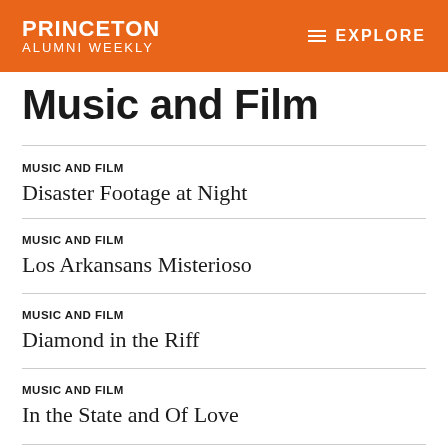PRINCETON ALUMNI WEEKLY | EXPLORE
Music and Film
MUSIC AND FILM
Disaster Footage at Night
MUSIC AND FILM
Los Arkansans Misterioso
MUSIC AND FILM
Diamond in the Riff
MUSIC AND FILM
In the State and Of Love